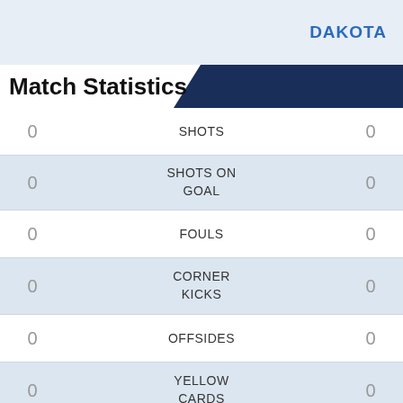DAKOTA
Match Statistics
|  | STAT |  |
| --- | --- | --- |
| 0 | SHOTS | 0 |
| 0 | SHOTS ON GOAL | 0 |
| 0 | FOULS | 0 |
| 0 | CORNER KICKS | 0 |
| 0 | OFFSIDES | 0 |
| 0 | YELLOW CARDS | 0 |